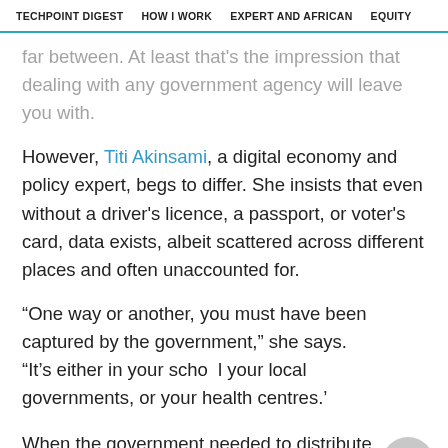TECHPOINT DIGEST   HOW I WORK   EXPERT AND AFRICAN   EQUITY
far between. At least that's the impression that dealing with any government agency will leave you with.
However, Titi Akinsami, a digital economy and policy expert, begs to differ. She insists that even without a driver's licence, a passport, or voter's card, data exists, albeit scattered across different places and often unaccounted for.
“One way or another, you must have been captured by the government,” she says. “It’s either in your school, your local governments, or your health centres.’
When the government needed to distribute palliatives